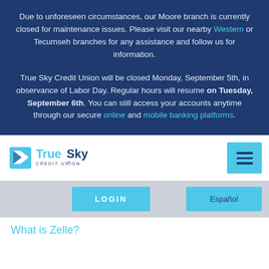Due to unforeseen circumstances, our Moore branch is currently closed for maintenance issues. Please visit our nearby Western or Tecumseh branches for any assistance and follow us for information.
True Sky Credit Union will be closed Monday, September 5th, in observance of Labor Day. Regular hours will resume on Tuesday, September 6th. You can still access your accounts anytime through our secure online and mobile banking platforms.
[Figure (logo): True Sky Credit Union logo with blue diamond/arrow icon and navy text]
[Figure (other): Hamburger menu icon (three horizontal bars) on cyan background]
LOGIN
Español
What is Zelle?